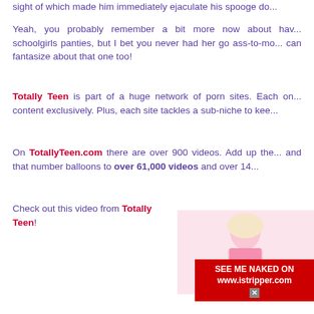sight of which made him immediately ejaculate his spooge do...
Yeah, you probably remember a bit more now about hav... schoolgirls panties, but I bet you never had her go ass-to-mo... can fantasize about that one too!
Totally Teen is part of a huge network of porn sites. Each on... content exclusively. Plus, each site tackles a sub-niche to kee...
On TotallyTeen.com there are over 900 videos. Add up the... and that number balloons to over 61,000 videos and over 14...
Check out this video from Totally Teen!
[Figure (photo): Blonde woman in pink lingerie outfit]
SEE ME NAKED ON www.istripper.com